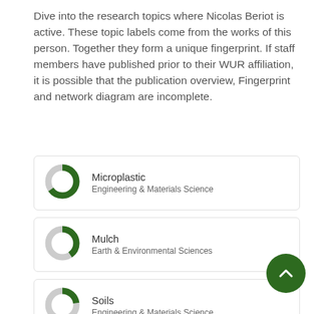Dive into the research topics where Nicolas Beriot is active. These topic labels come from the works of this person. Together they form a unique fingerprint. If staff members have published prior to their WUR affiliation, it is possible that the publication overview, Fingerprint and network diagram are incomplete.
Microplastic — Engineering & Materials Science
Mulch — Earth & Environmental Sciences
Soils — Engineering & Materials Science
Microplastics